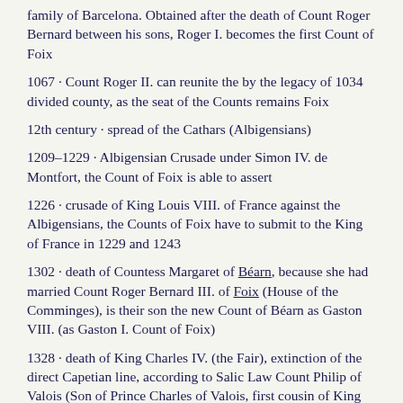family of Barcelona. Obtained after the death of Count Roger Bernard between his sons, Roger I. becomes the first Count of Foix
1067 · Count Roger II. can reunite the by the legacy of 1034 divided county, as the seat of the Counts remains Foix
12th century · spread of the Cathars (Albigensians)
1209–1229 · Albigensian Crusade under Simon IV. de Montfort, the Count of Foix is able to assert
1226 · crusade of King Louis VIII. of France against the Albigensians, the Counts of Foix have to submit to the King of France in 1229 and 1243
1302 · death of Countess Margaret of Béarn, because she had married Count Roger Bernard III. of Foix (House of the Comminges), is their son the new Count of Béarn as Gaston VIII.  (as Gaston I. Count of Foix)
1328 · death of King Charles IV. (the Fair), extinction of the direct Capetian line, according to Salic Law Count Philip of Valois (Son of Prince Charles of Valois, first cousin of King Charles IV.) came on the French throne (as King Philip VI .), the English king Edward III. lays claim to the throne as a